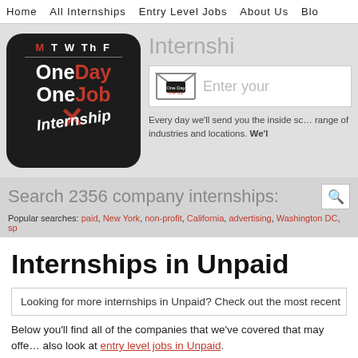Home  All Internships  Entry Level Jobs  About Us  Blo
[Figure (logo): One Day One Internship logo — black rounded square with days of week, red X over 'job', italic 'Internship' text]
Internshi…
Enter your…
Every day we'll send you the inside sc… range of industries and locations. We'l…
Search 2356 company internships:
Popular searches: paid, New York, non-profit, California, advertising, Washington DC, sp…
Internships in Unpaid
Looking for more internships in Unpaid? Check out the most recent…
Below you'll find all of the companies that we've covered that may offe… also look at entry level jobs in Unpaid.